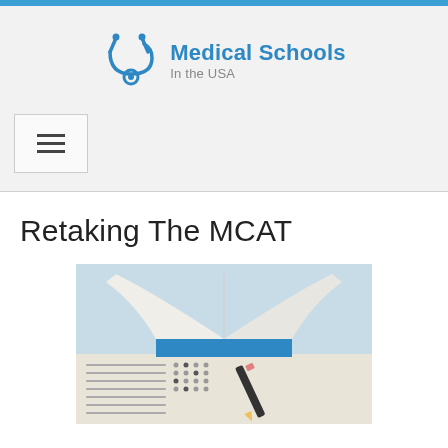[Figure (logo): Medical Schools In the USA logo with stethoscope icon in blue]
[Figure (other): Hamburger/menu icon button with three horizontal lines]
Retaking The MCAT
[Figure (photo): Photo of an open book with a blue spine lying on a multiple-choice answer sheet with a pencil]